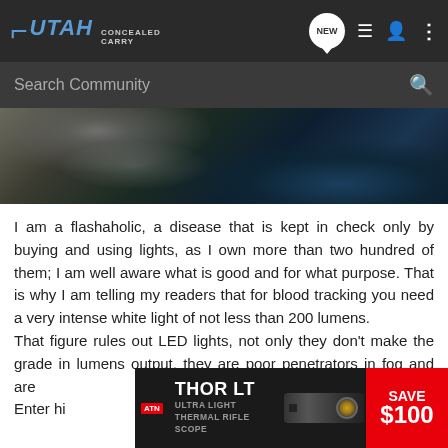UTAH CONCEALED CARRY — navigation bar with NEW, list, user, and menu icons
[Figure (screenshot): Search Community bar with magnifying glass icon on dark background]
[Figure (photo): Dark outdoor photo showing ground/rocks, partial view, dark tones with blue reflections]
I am a flashaholic, a disease that is kept in check only by buying and using lights, as I own more than two hundred of them; I am well aware what is good and for what purpose. That is why I am telling my readers that for blood tracking you need a very intense white light of not less than 200 lumens. That figure rules out LED lights, not only they don’t make the grade in lumens output, they are poor penetrators in fog and are Enter hi
[Figure (infographic): Advertisement banner for ATN THOR LT Ultra Light Thermal Rifle Scope — SAVE $100]